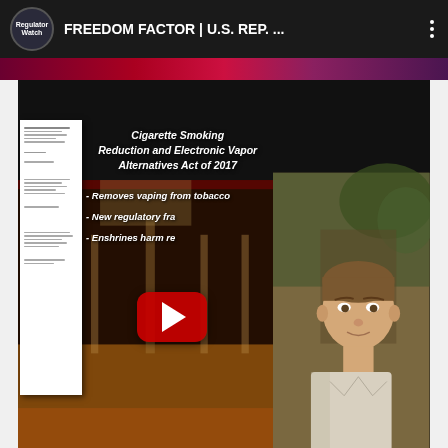FREEDOM FACTOR | U.S. REP. ...
[Figure (screenshot): YouTube video thumbnail screenshot showing a split-screen video: left side shows U.S. Congress chamber background with text overlay about the Cigarette Smoking Reduction and Electronic Vapor Alternatives Act of 2017, with bullet points about removing vaping from tobacco, new regulatory framework, and enshrining harm reduction. A red YouTube play button is overlaid in the center. Right side shows a man (Rep. Duncan Hunter) speaking in an interview. A document/bill is partially visible on the left edge. Below the video is a news ticker bar reading 'EDOM FACTOR' and 'Rep. Duncan Hunter Talks Vaping Bill | H.R. 2194'. The video is from the Regulator Watch channel.]
Cigarette Smoking Reduction and Electronic Vapor Alternatives Act of 2017
- Removes vaping from tobacco
- New regulatory fra[mework]
- Enshrines harm re[duction]
EDOM FACTOR
Rep. Duncan Hunter Talks Vaping Bill | H.R. 2194